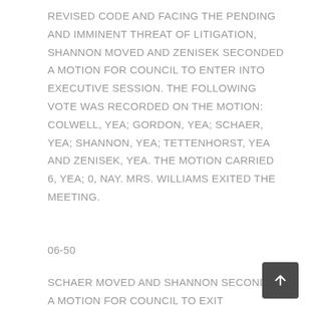REVISED CODE AND FACING THE PENDING AND IMMINENT THREAT OF LITIGATION, SHANNON MOVED AND ZENISEK SECONDED A MOTION FOR COUNCIL TO ENTER INTO EXECUTIVE SESSION. THE FOLLOWING VOTE WAS RECORDED ON THE MOTION: COLWELL, YEA; GORDON, YEA; SCHAER, YEA; SHANNON, YEA; TETTENHORST, YEA AND ZENISEK, YEA. THE MOTION CARRIED 6, YEA; 0, NAY. MRS. WILLIAMS EXITED THE MEETING.
06-50
SCHAER MOVED AND SHANNON SECONDED A MOTION FOR COUNCIL TO EXIT EXECUTIVE SESSION.